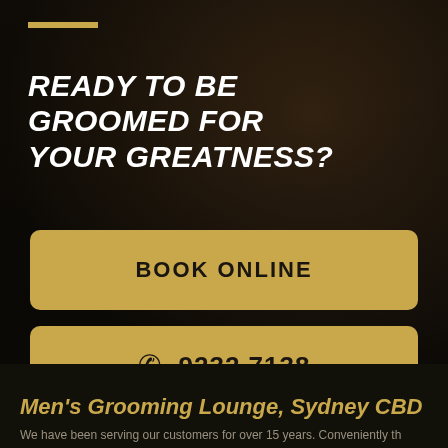READY TO BE GROOMED FOR YOUR GREATNESS?
BOOK ONLINE
9232 7138
Men's Grooming Lounge, Sydney CBD
We have been serving our customers for over 15 years. Conveniently th